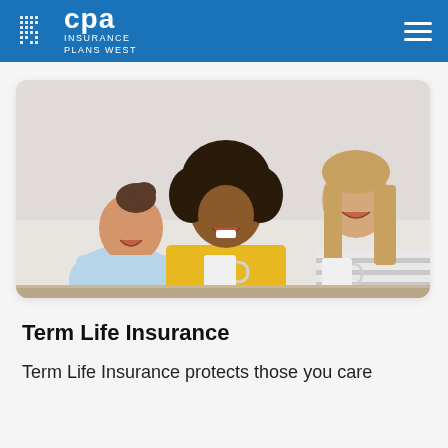CPA Insurance Plans West
[Figure (photo): Three young women laughing and socializing together, holding white mugs. One wearing yellow top, one in light blue, one in striped shirt.]
Term Life Insurance
Term Life Insurance protects those you care